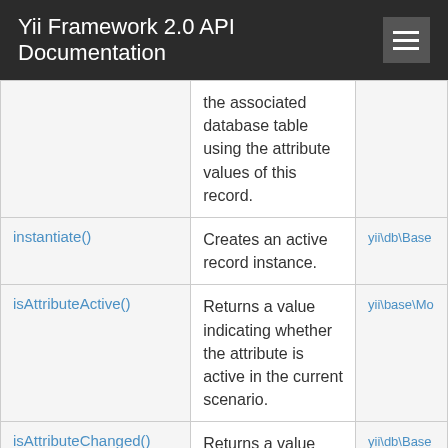Yii Framework 2.0 API Documentation
| Method | Description | Defined By |
| --- | --- | --- |
|  | the associated database table using the attribute values of this record. |  |
| instantiate() | Creates an active record instance. | yii\db\Base |
| isAttributeActive() | Returns a value indicating whether the attribute is active in the current scenario. | yii\base\Mo |
| isAttributeChanged() | Returns a value indicating whether the named attribute has been changed. | yii\db\Base |